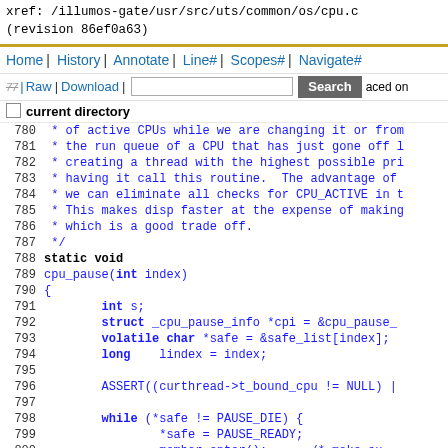xref: /illumos-gate/usr/src/uts/common/os/cpu.c
(revision 86ef0a63)
Home | History | Annotate | Line# | Scopes# | Navigate#
| Raw | Download | [search box] Search | aced on
current directory
779  * trying to do here is prevent a thread from trav
780  * of active CPUs while we are changing it or from
781  * the run queue of a CPU that has just gone off l
782  * creating a thread with the highest possible pri
783  * having it call this routine.  The advantage of
784  * we can eliminate all checks for CPU_ACTIVE in t
785  * This makes disp faster at the expense of making
786  * which is a good trade off.
787   */
788  static void
789  cpu_pause(int index)
790  {
791          int s;
792          struct _cpu_pause_info *cpi = &cpu_pause_
793          volatile char *safe = &safe_list[index];
794          long    lindex = index;
795
796          ASSERT((curthread->t_bound_cpu != NULL) |
797
798          while (*safe != PAUSE_DIE) {
799                  *safe = PAUSE_READY;
800                  membar_enter();        /* make su
801                  sema_v(&cpi->cp_sem);  /* signal
802